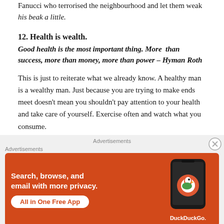Fanucci who terrorised the neighbourhood and let them weak his beak a little.
12. Health is wealth.
Good health is the most important thing. More than success, more than money, more than power – Hyman Roth
This is just to reiterate what we already know. A healthy man is a wealthy man. Just because you are trying to make ends meet doesn't mean you shouldn't pay attention to your health and take care of yourself. Exercise often and watch what you consume.
[Figure (screenshot): DuckDuckGo advertisement banner on orange background with text 'Search, browse, and email with more privacy. All in One Free App' and DuckDuckGo logo with phone illustration.]